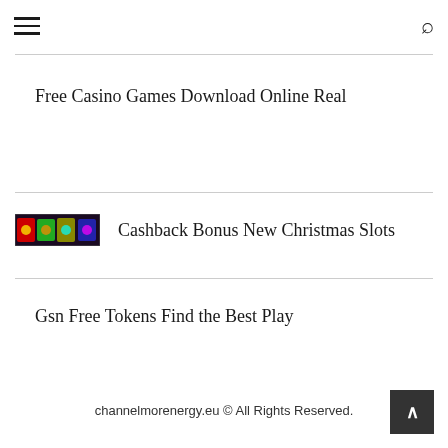≡  🔍
Free Casino Games Download Online Real
[Figure (illustration): Thumbnail image for Cashback Bonus New Christmas Slots — a small banner image with colorful casino-themed graphics on a dark background]
Cashback Bonus New Christmas Slots
Gsn Free Tokens Find the Best Play
channelmorenergy.eu © All Rights Reserved.